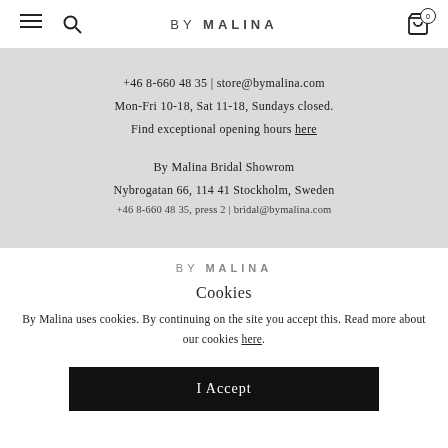BY MALINA — navigation header with hamburger menu, search icon, logo, and cart icon (0 items)
+46 8-660 48 35 | store@bymalina.com
Mon-Fri 10-18, Sat 11-18, Sundays closed.
Find exceptional opening hours here
By Malina Bridal Showrom
Nybrogatan 66, 114 41 Stockholm, Sweden
+46 8-660 48 35, press 2 | bridal@bymalina.com
[Figure (logo): BY MALINA logo in grey text, centered]
Cookies
By Malina uses cookies. By continuing on the site you accept this. Read more about our cookies here.
I Accept